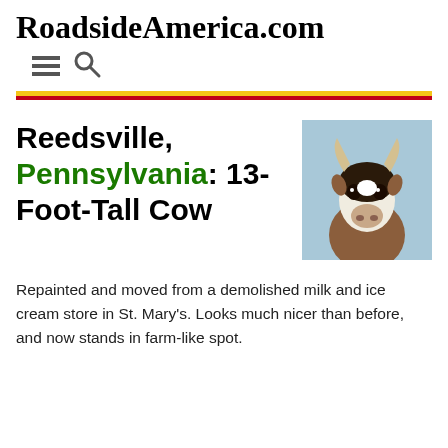RoadsideAmerica.com
Reedsville, Pennsylvania: 13-Foot-Tall Cow
[Figure (photo): Close-up photo of a large cow statue head with horns against a light blue sky background.]
Repainted and moved from a demolished milk and ice cream store in St. Mary's. Looks much nicer than before, and now stands in farm-like spot.